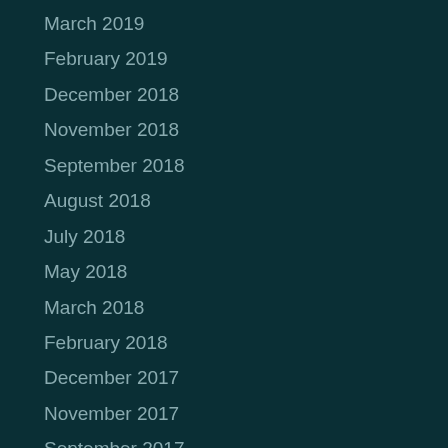March 2019
February 2019
December 2018
November 2018
September 2018
August 2018
July 2018
May 2018
March 2018
February 2018
December 2017
November 2017
September 2017
August 2017